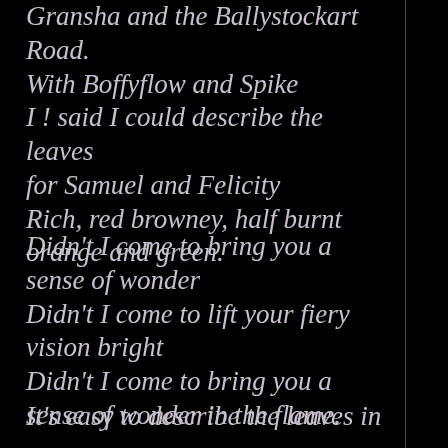Gransha and the Ballystockart Road.
With Boffyflow and Spike
I ! said I could describe the leaves
for Samuel and Felicity
Rich, red browney, half burnt orange and green.
Didn't I come to bring you a sense of wonder
Didn't I come to lift your fiery vision bright
Didn't I come to bring you a sense of wonder in the flame.
It's easy to describe the leaves in